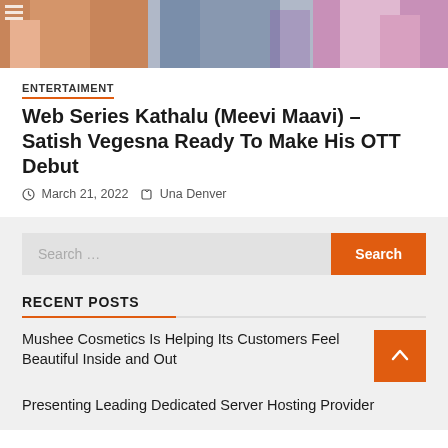[Figure (photo): Cropped top portion of a photo showing people, partially visible]
ENTERTAIMENT
Web Series Kathalu (Meevi Maavi) – Satish Vegesna Ready To Make His OTT Debut
March 21, 2022   Una Denver
[Figure (other): Search bar with orange Search button]
RECENT POSTS
Mushee Cosmetics Is Helping Its Customers Feel Beautiful Inside and Out
Presenting Leading Dedicated Server Hosting Provider